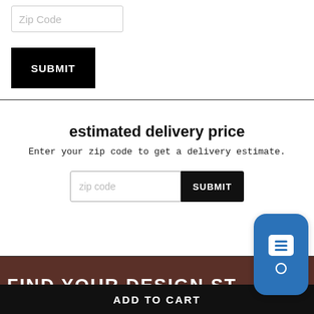[Figure (screenshot): Zip Code input field at top of page]
[Figure (screenshot): Black SUBMIT button]
estimated delivery price
Enter your zip code to get a delivery estimate.
[Figure (screenshot): zip code input field and SUBMIT button]
[Figure (screenshot): FIND YOUR DESIGN ST... banner with brown background]
ADD TO CART
[Figure (screenshot): Blue chat widget icon on right side]